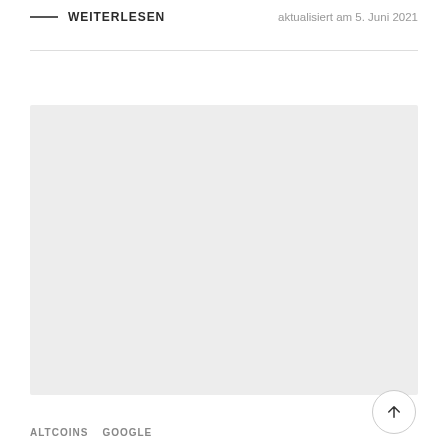WEITERLESEN   aktualisiert am 5. Juni 2021
[Figure (photo): Large light grey placeholder image rectangle]
ALTCOINS   GOOGLE